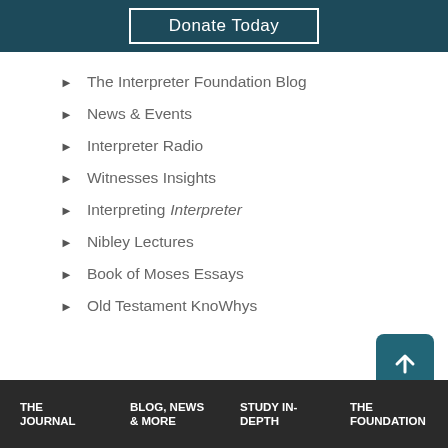[Figure (other): Donate Today button in dark teal header bar]
The Interpreter Foundation Blog
News & Events
Interpreter Radio
Witnesses Insights
Interpreting Interpreter
Nibley Lectures
Book of Moses Essays
Old Testament KnoWhys
THE JOURNAL | BLOG, NEWS & MORE | STUDY IN-DEPTH | THE FOUNDATION